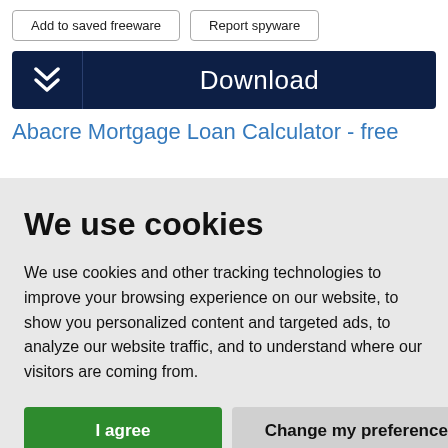Add to saved freeware | Report spyware
Download
Abacre Mortgage Loan Calculator - free
We use cookies
We use cookies and other tracking technologies to improve your browsing experience on our website, to show you personalized content and targeted ads, to analyze our website traffic, and to understand where our visitors are coming from.
I agree
Change my preferences